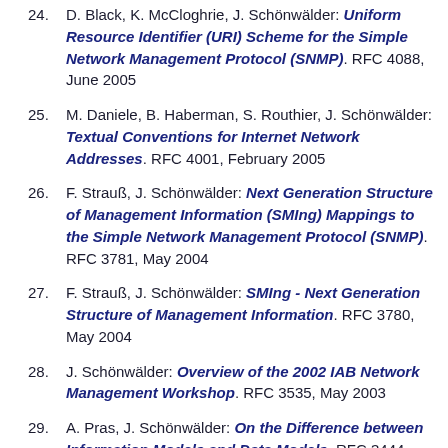24. D. Black, K. McCloghrie, J. Schönwälder: Uniform Resource Identifier (URI) Scheme for the Simple Network Management Protocol (SNMP). RFC 4088, June 2005
25. M. Daniele, B. Haberman, S. Routhier, J. Schönwälder: Textual Conventions for Internet Network Addresses. RFC 4001, February 2005
26. F. Strauß, J. Schönwälder: Next Generation Structure of Management Information (SMIng) Mappings to the Simple Network Management Protocol (SNMP). RFC 3781, May 2004
27. F. Strauß, J. Schönwälder: SMIng - Next Generation Structure of Management Information. RFC 3780, May 2004
28. J. Schönwälder: Overview of the 2002 IAB Network Management Workshop. RFC 3535, May 2003
29. A. Pras, J. Schönwälder: On the Difference between Information Models and Data Models. RFC 3444, January 2003
30. J. Schönwälder: Simple Network Management Protocol